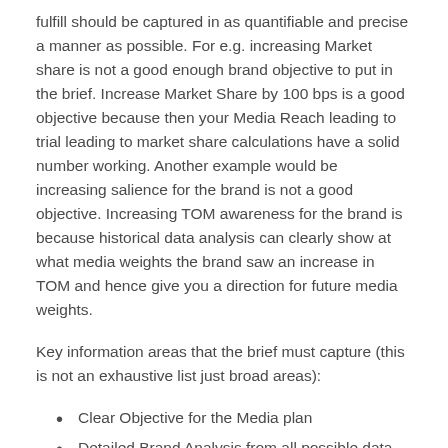fulfill should be captured in as quantifiable and precise a manner as possible. For e.g. increasing Market share is not a good enough brand objective to put in the brief. Increase Market Share by 100 bps is a good objective because then your Media Reach leading to trial leading to market share calculations have a solid number working. Another example would be increasing salience for the brand is not a good objective. Increasing TOM awareness for the brand is because historical data analysis can clearly show at what media weights the brand saw an increase in TOM and hence give you a direction for future media weights.
Key information areas that the brief must capture (this is not an exhaustive list just broad areas):
Clear Objective for the Media plan
Detailed Brand Analysis from all possible data sources thereby coming up with key learnings and implications for next year